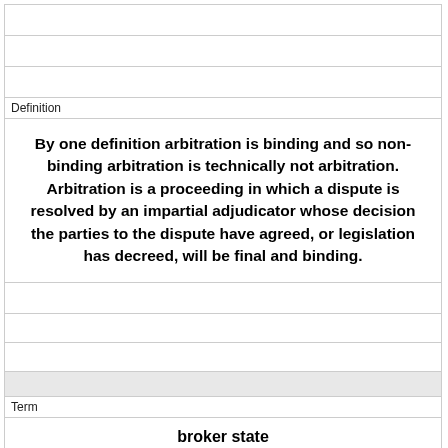|  |
|  |
| Definition |
| By one definition arbitration is binding and so non-binding arbitration is technically not arbitration. Arbitration is a proceeding in which a dispute is resolved by an impartial adjudicator whose decision the parties to the dispute have agreed, or legislation has decreed, will be final and binding. |
|  |
|  |
|  |
|  |
| Term |
| broker state |
|  |
|  |
|  |